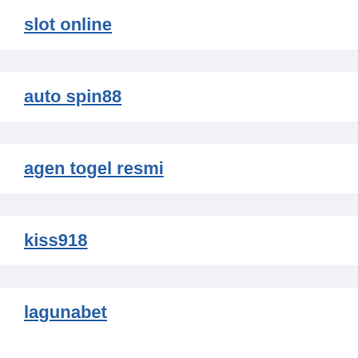slot online
auto spin88
agen togel resmi
kiss918
lagunabet